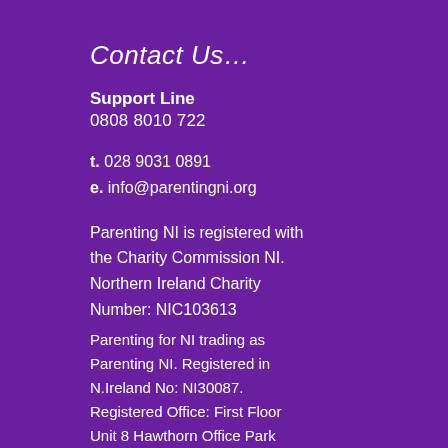Contact Us…
Support Line
0808 8010 722
t. 028 9031 0891
e. info@parentingni.org
Parenting NI is registered with the Charity Commission NI. Northern Ireland Charity Number: NIC103613
Parenting for NI trading as Parenting NI. Registered in N.Ireland No: NI30087. Registered Office: First Floor Unit 8 Hawthorn Office Park